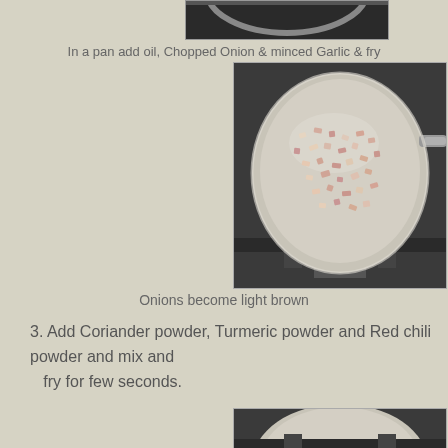[Figure (photo): Top partial image of a pan on a stove, cropped at top of page]
In a pan add oil, Chopped Onion & minced Garlic & fry
[Figure (photo): A stainless steel frying pan on a gas stove containing chopped onions and minced garlic being fried, onions appear light brown/pinkish]
Onions become light brown
3. Add Coriander powder, Turmeric powder and Red chili powder and mix and
   fry for few seconds.
[Figure (photo): Bottom partial image of a pan on a stove, cropped at bottom of page]